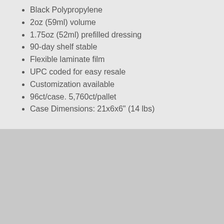Black Polypropylene
2oz (59ml) volume
1.75oz (52ml) prefilled dressing
90-day shelf stable
Flexible laminate film
UPC coded for easy resale
Customization available
96ct/case. 5,760ct/pallet
Case Dimensions: 21x6x6" (14 lbs)
[Figure (photo): Photo of buffalo wings with celery sticks, carrots, and white dressing/dip sauce on a dark plate, with a bottle in the background]